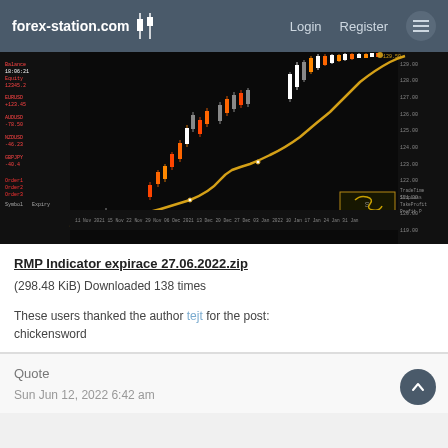forex-station.com  Login  Register
[Figure (screenshot): A forex trading chart screenshot showing candlestick price action with a golden moving average curve rising steeply. The chart is on a black background with orange/red/white candles, with indicator data shown on the left and a golden logo watermark on the right.]
RMP Indicator expirace 27.06.2022.zip
(298.48 KiB) Downloaded 138 times
These users thanked the author tejt for the post:
chickensword
Quote
Sun Jun 12, 2022 6:42 am